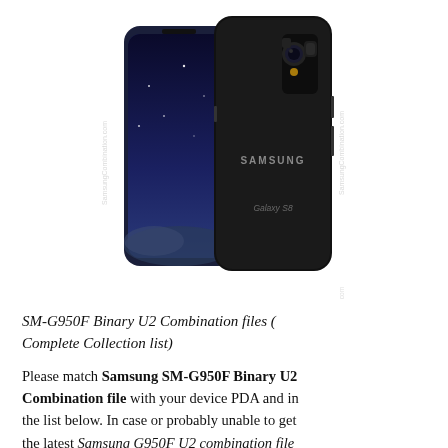[Figure (photo): Samsung Galaxy S8 smartphone shown from front and back, midnight black color, with 'SAMSUNG' and 'Galaxy S8' text on the back, camera and fingerprint sensor visible. Watermark 'SamsungCombination.com' overlaid on image.]
SM-G950F Binary U2 Combination files ( Complete Collection list)
Please match Samsung SM-G950F Binary U2 Combination file with your device PDA and in the list below. In case or probably unable to get the latest Samsung G950F U2 combination file